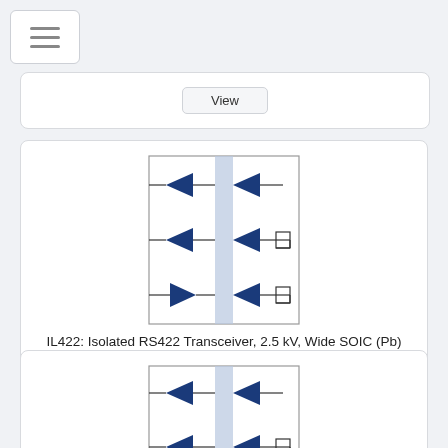[Figure (screenshot): Navigation hamburger menu icon button]
[Figure (other): View button from top card (partially visible)]
[Figure (schematic): IL422 isolated RS422 transceiver schematic showing dual isolation barrier with signal buffers/drivers on both sides]
IL422: Isolated RS422 Transceiver, 2.5 kV, Wide SOIC (Pb)
$12.57
[Figure (other): View button for IL422]
[Figure (schematic): IL485 isolated RS485/PROFIBUS transceiver schematic showing dual isolation barrier with signal buffers/drivers on both sides]
IL485: Isolated RS485/PROFIBUS Transceiver, 2.5 kV, Wide SOIC (Pb)